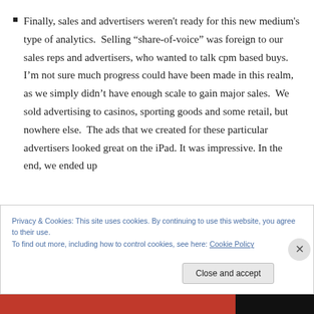Finally, sales and advertisers weren't ready for this new medium's type of analytics.  Selling "share-of-voice" was foreign to our sales reps and advertisers, who wanted to talk cpm based buys.  I'm not sure much progress could have been made in this realm, as we simply didn't have enough scale to gain major sales.  We sold advertising to casinos, sporting goods and some retail, but nowhere else.  The ads that we created for these particular advertisers looked great on the iPad. It was impressive. In the end, we ended up
Privacy & Cookies: This site uses cookies. By continuing to use this website, you agree to their use.
To find out more, including how to control cookies, see here: Cookie Policy
Close and accept